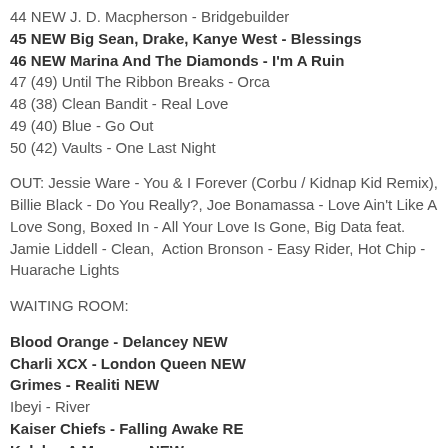44 NEW J. D. Macpherson - Bridgebuilder
45 NEW Big Sean, Drake, Kanye West - Blessings
46 NEW Marina And The Diamonds - I'm A Ruin
47 (49) Until The Ribbon Breaks - Orca
48 (38) Clean Bandit - Real Love
49 (40) Blue - Go Out
50 (42) Vaults - One Last Night
OUT: Jessie Ware - You & I Forever (Corbu / Kidnap Kid Remix), Billie Black - Do You Really?, Joe Bonamassa - Love Ain't Like A Love Song, Boxed In - All Your Love Is Gone, Big Data feat. Jamie Liddell - Clean,  Action Bronson - Easy Rider, Hot Chip - Huarache Lights
WAITING ROOM:
Blood Orange - Delancey NEW
Charli XCX - London Queen NEW
Grimes - Realiti NEW
Ibeyi - River
Kaiser Chiefs - Falling Awake RE
Kelela - A Message NEW